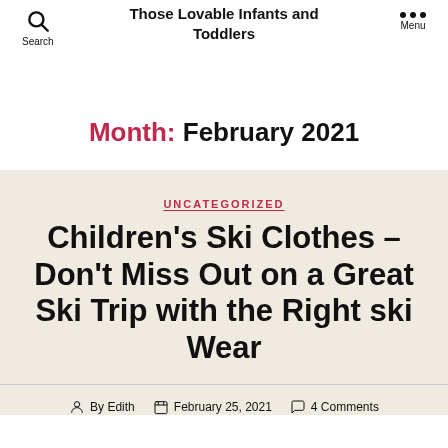Those Lovable Infants and Toddlers
Month: February 2021
UNCATEGORIZED
Children's Ski Clothes – Don't Miss Out on a Great Ski Trip with the Right ski Wear
By Edith   February 25, 2021   4 Comments